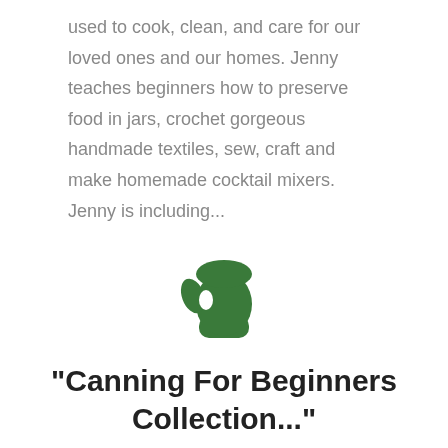used to cook, clean, and care for our loved ones and our homes. Jenny teaches beginners how to preserve food in jars, crochet gorgeous handmade textiles, sew, craft and make homemade cocktail mixers. Jenny is including...
[Figure (illustration): A dark green oven mitt / glove icon]
"Canning For Beginners Collection..."
This is a collection of mini ebooks designed to teach you how to get you started preserving delicious, homemade food in jars today! This bundle shares ALL Jenny's beginner friendly canning ebooks and PDFs to help you dive into canning with